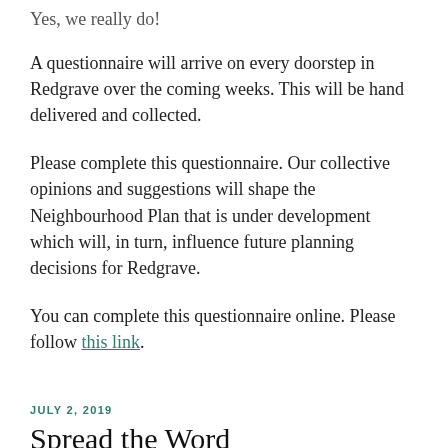Yes, we really do!
A questionnaire will arrive on every doorstep in Redgrave over the coming weeks. This will be hand delivered and collected.
Please complete this questionnaire. Our collective opinions and suggestions will shape the Neighbourhood Plan that is under development which will, in turn, influence future planning decisions for Redgrave.
You can complete this questionnaire online. Please follow this link.
JULY 2, 2019
Spread the Word
If you are finding it useful and interesting following this